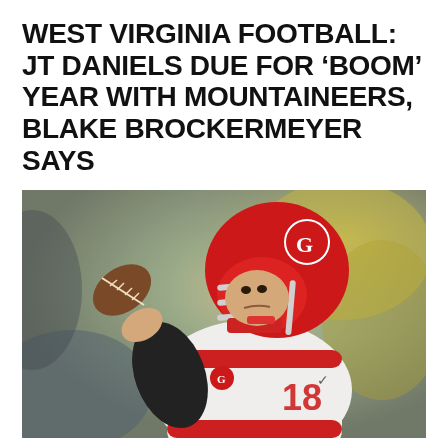WEST VIRGINIA FOOTBALL: JT DANIELS DUE FOR 'BOOM' YEAR WITH MOUNTAINEERS, BLAKE BROCKERMEYER SAYS
[Figure (photo): A football player wearing a white and red Georgia Bulldogs uniform and red helmet with number 18, in a throwing stance holding a football, with a blurred yellow and dark background.]